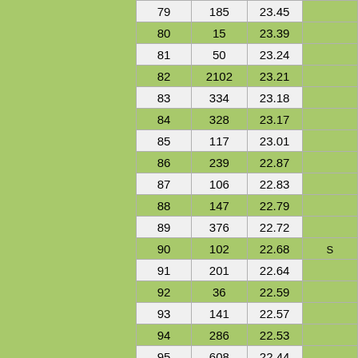|  |  |  |  |
| --- | --- | --- | --- |
| 79 | 185 | 23.45 |  |
| 80 | 15 | 23.39 |  |
| 81 | 50 | 23.24 |  |
| 82 | 2102 | 23.21 |  |
| 83 | 334 | 23.18 |  |
| 84 | 328 | 23.17 |  |
| 85 | 117 | 23.01 |  |
| 86 | 239 | 22.87 |  |
| 87 | 106 | 22.83 |  |
| 88 | 147 | 22.79 |  |
| 89 | 376 | 22.72 |  |
| 90 | 102 | 22.68 | S |
| 91 | 201 | 22.64 |  |
| 92 | 36 | 22.59 |  |
| 93 | 141 | 22.57 |  |
| 94 | 286 | 22.53 |  |
| 95 | 608 | 22.44 |  |
| 96 | 194 | 22.32 |  |
| 97 | 140 | 22.30 |  |
| 98 | 273 | 22.16 |  |